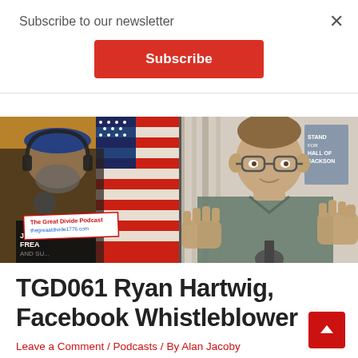Subscribe to our newsletter
Subscribe
[Figure (screenshot): Split video thumbnail: left side shows a bearded man wearing headphones and a blue cap in front of an American flag with a podcast banner reading 'The Great Divide Podcast thegreaatdivide1776.com'; right side shows a man in glasses and a grey polo shirt gesturing with hands, a book visible in background.]
TGD061 Ryan Hartwig, Facebook Whistleblower
Leave a Comment / Podcasts / By Alan Jacoby
Ryan Hartwig was a content moderator for Facebook and filmed